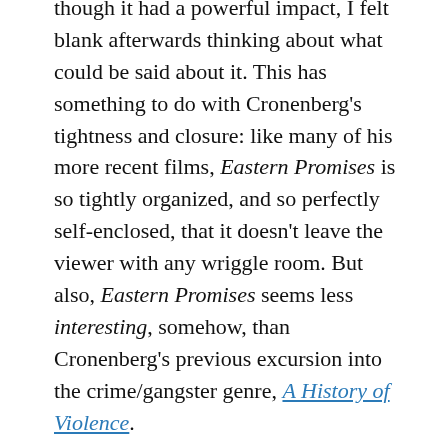though it had a powerful impact, I felt blank afterwards thinking about what could be said about it. This has something to do with Cronenberg's tightness and closure: like many of his more recent films, Eastern Promises is so tightly organized, and so perfectly self-enclosed, that it doesn't leave the viewer with any wriggle room. But also, Eastern Promises seems less interesting, somehow, than Cronenberg's previous excursion into the crime/gangster genre, A History of Violence.
This is partly the result of the films' respective directions of focus. Where A History of Violence focused on both American genre assumptions and on American society more generally, with Cronenberg the Canadian able to view the USA